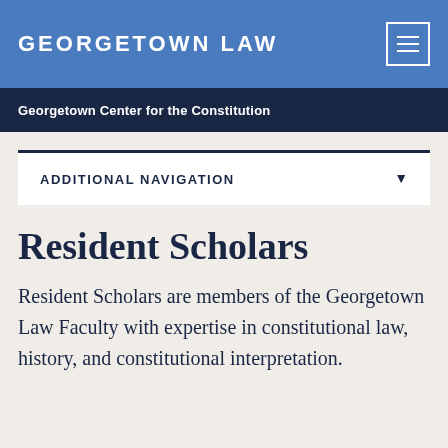GEORGETOWN LAW
Georgetown Center for the Constitution
ADDITIONAL NAVIGATION
Resident Scholars
Resident Scholars are members of the Georgetown Law Faculty with expertise in constitutional law, history, and constitutional interpretation.